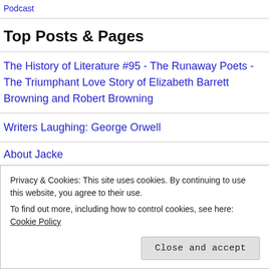Podcast
Top Posts & Pages
The History of Literature #95 - The Runaway Poets - The Triumphant Love Story of Elizabeth Barrett Browning and Robert Browning
Writers Laughing: George Orwell
About Jacke
Podcast
Privacy & Cookies: This site uses cookies. By continuing to use this website, you agree to their use.
To find out more, including how to control cookies, see here: Cookie Policy
Close and accept